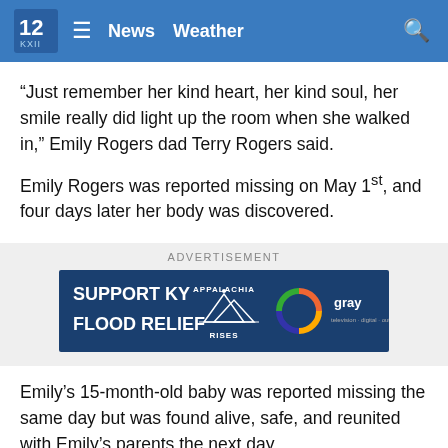12 KXII News Weather
“Just remember her kind heart, her kind soul, her smile really did light up the room when she walked in,” Emily Rogers dad Terry Rogers said.
Emily Rogers was reported missing on May 1st, and four days later her body was discovered.
[Figure (other): Advertisement banner: SUPPORT KY FLOOD RELIEF with Appalachia Rises and Gray Television logos on dark blue background]
Emily’s 15-month-old baby was reported missing the same day but was found alive, safe, and reunited with Emily’s parents the next day.
“It’s a piece of our daughter for us we can basically raise…